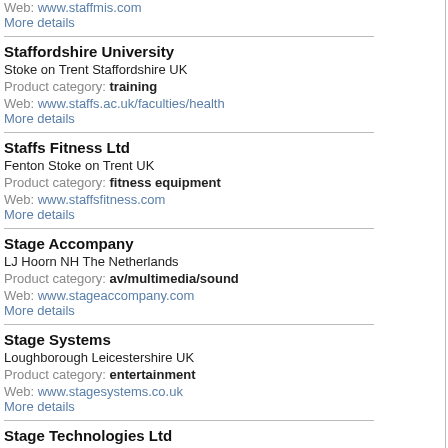Web: www.staffmis.com
More details
Staffordshire University
Stoke on Trent Staffordshire UK
Product category: training
Web: www.staffs.ac.uk/faculties/health
More details
Staffs Fitness Ltd
Fenton Stoke on Trent UK
Product category: fitness equipment
Web: www.staffsfitness.com
More details
Stage Accompany
LJ Hoorn NH The Netherlands
Product category: av/multimedia/sound
Web: www.stageaccompany.com
More details
Stage Systems
Loughborough Leicestershire UK
Product category: entertainment
Web: www.stagesystems.co.uk
More details
Stage Technologies Ltd
London UK